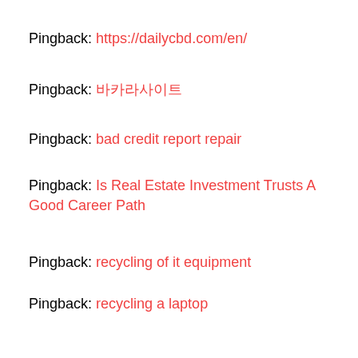Pingback: https://dailycbd.com/en/
Pingback: 바카라사이트
Pingback: bad credit report repair
Pingback: Is Real Estate Investment Trusts A Good Career Path
Pingback: recycling of it equipment
Pingback: recycling a laptop
Pingback: SQL Server
Pingback: Albanian homosexual blog